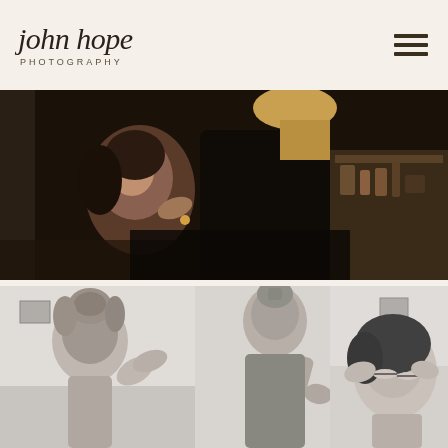[Figure (logo): John Hope Photography logo with script text and hamburger menu icon]
[Figure (photo): Color photograph of a bride getting makeup applied, showing a woman with dark hair looking up at a makeup artist with blonde hair, dark and moody lighting, makeup tools on table in background]
[Figure (photo): Black and white photograph of bridal preparation scene, showing a woman with hair up getting her eyebrows or makeup done by a stylist, elegant setting]